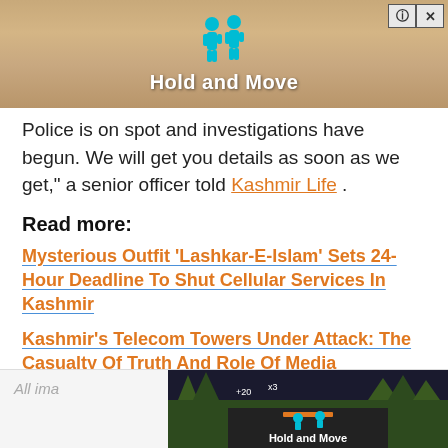[Figure (screenshot): Advertisement banner with cartoon figures and text 'Hold and Move', with close/info buttons in top right corner]
Police is on spot and investigations have begun. We will get you details as soon as we get," a senior officer told Kashmir Life .
Read more:
Mysterious Outfit ‘Lashkar-E-Islam’ Sets 24-Hour Deadline To Shut Cellular Services In Kashmir
Kashmir’s Telecom Towers Under Attack: The Casualty Of Truth And Role Of Media
Mobile Networks Shut Down In Parts Of Kashmir As ‘Militants’ Attack People Working In Telecom Firms
[Figure (screenshot): Bottom advertisement banner showing 'Hold and Move' game with cartoon figures, partially visible with forest background]